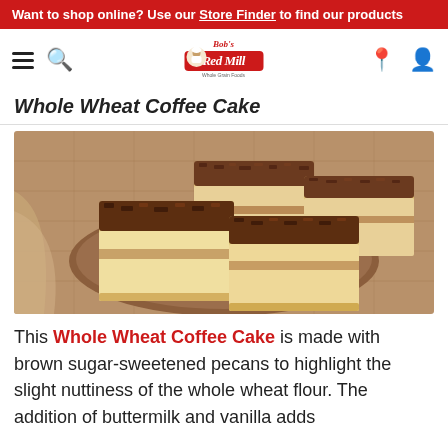Want to shop online? Use our Store Finder to find our products
[Figure (logo): Bob's Red Mill logo with chef illustration]
Whole Wheat Coffee Cake
[Figure (photo): Whole wheat coffee cake squares with cinnamon streusel topping on a wooden plate over burlap]
This Whole Wheat Coffee Cake is made with brown sugar-sweetened pecans to highlight the slight nuttiness of the whole wheat flour. The addition of buttermilk and vanilla adds